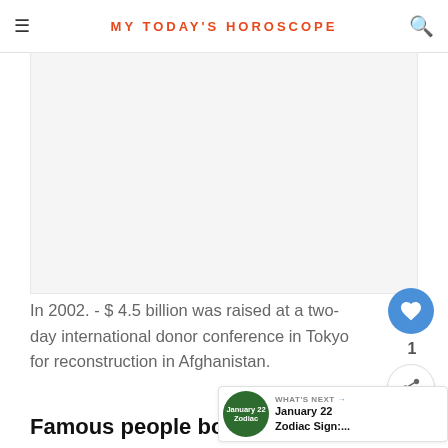MY TODAY'S HOROSCOPE
[Figure (other): Advertisement placeholder block]
In 2002. - $ 4.5 billion was raised at a two-day international donor conference in Tokyo for reconstruction in Afghanistan.
Famous people born on January 22